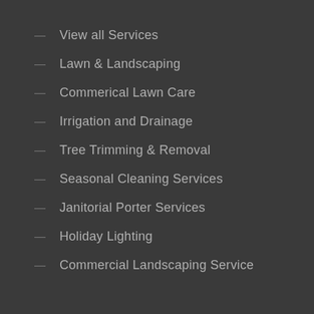— View all Services
— Lawn & Landscaping
— Commerical Lawn Care
— Irrigation and Drainage
— Tree Trimming & Removal
— Seasonal Cleaning Services
— Janitorial Porter Services
— Holiday Lighting
— Commercial Landscaping Service